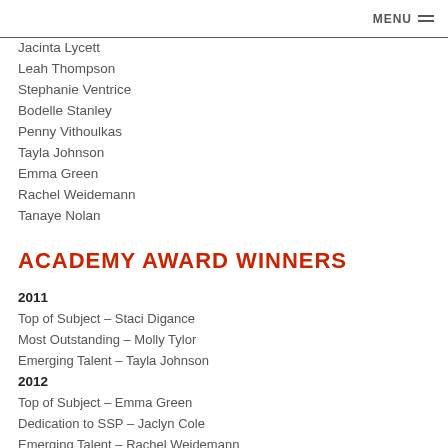MENU
Jacinta Lycett
Leah Thompson
Stephanie Ventrice
Bodelle Stanley
Penny Vithoulkas
Tayla Johnson
Emma Green
Rachel Weidemann
Tanaye Nolan
ACADEMY AWARD WINNERS
2011
Top of Subject – Staci Digance
Most Outstanding – Molly Tylor
Emerging Talent – Tayla Johnson
2012
Top of Subject – Emma Green
Dedication to SSP – Jaclyn Cole
Emerging Talent – Rachel Weidemann
2013
Top of Subject – Zoe Anastasiou